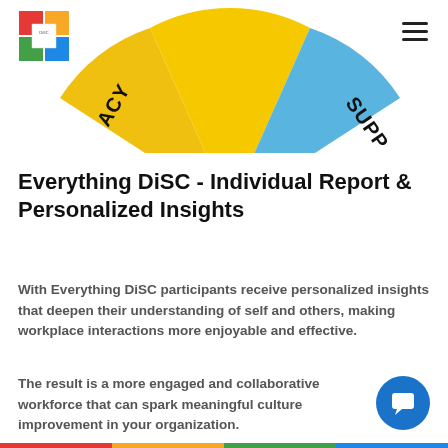[Figure (other): Everything DiSC logo — colored grid squares (red, green, blue, yellow) with white inner square]
[Figure (pie-chart): Partial semicircle pie chart showing DISC segments: yellow (Accuracy/ACY label on left edge, partially cut), gold/yellow center section labeled STABILITY, blue section labeled SUPPORT (SUPPO visible on right edge). The chart is cropped at the top of the page.]
Everything DiSC - Individual Report & Personalized Insights
With Everything DiSC participants receive personalized insights that deepen their understanding of self and others, making workplace interactions more enjoyable and effective.
The result is a more engaged and collaborative workforce that can spark meaningful culture improvement in your organization.